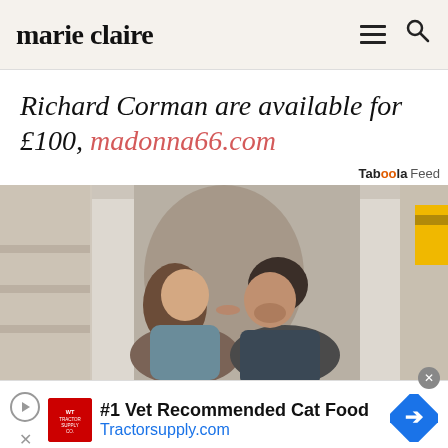marie claire
Richard Corman are available for £100, madonna66.com
Taboola Feed
[Figure (photo): A couple kissing outdoors near classical stone columns, yellow taxi visible in background]
#1 Vet Recommended Cat Food Tractorsupply.com